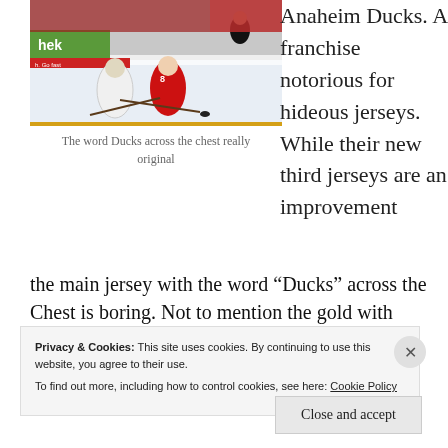[Figure (photo): Ice hockey players on the rink, one in red New Jersey Devils jersey, one in white Anaheim Ducks jersey, competing for the puck near the boards]
The word Ducks across the chest really original
Anaheim Ducks. A franchise notorious for hideous jerseys. While their new third jerseys are an improvement the main jersey with the word “Ducks” across the Chest is boring. Not to mention the gold with black combination which should look cool looks pretty weak.
Privacy & Cookies: This site uses cookies. By continuing to use this website, you agree to their use.
To find out more, including how to control cookies, see here: Cookie Policy
Close and accept